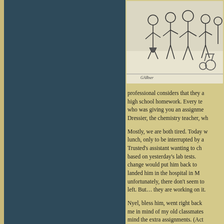[Figure (illustration): A black and white cartoon illustration showing a group of people, appears to be students or teachers in a school setting, with a signature reading 'GARner' or similar at the bottom left]
professional considers that they ar... high school homework. Every te... who was giving you an assignme... Dressier, the chemistry teacher, wh...
Mostly, we are both tired. Today w... lunch, only to be interrupted by a... Trusted's assistant wanting to ch... based on yesterday's lab tests. change would put him back to... landed him in the hospital in M... unfortunately, there don't seem to... left. But… they are working on it.
Nyel, bless him, went right back... me in mind of my old classmates... mind the extra assignments. (Act... one of those.) What a differen...